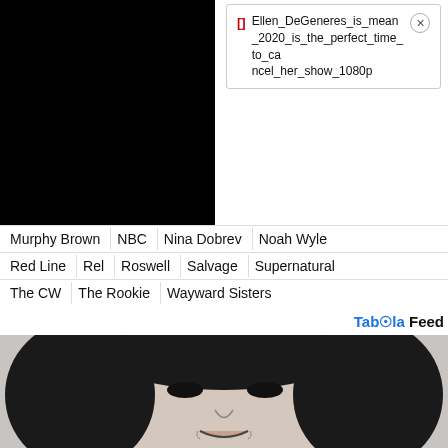[Figure (screenshot): Black video thumbnail on the left; popup notification on the right showing '[]' in red and text 'Ellen_DeGeneres_is_mean_2020_is_the_perfect_time_to_cancel_her_show_1080p' with a close (X) button]
Murphy Brown   NBC   Nina Dobrev   Noah Wyle
Red Line   Rel   Roswell   Salvage   Supernatural
The CW   The Rookie   Wayward Sisters
Taboola Feed
[Figure (photo): Black and white close-up portrait photo of a young Asian woman with dark hair and bangs, smiling slightly]